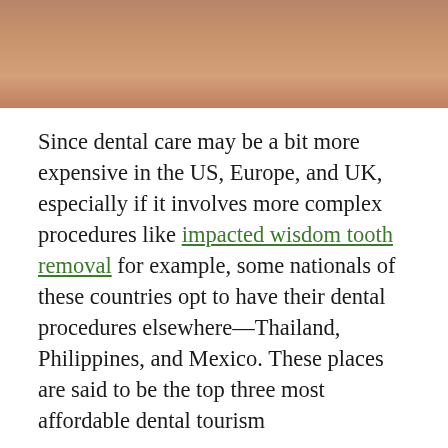[Figure (photo): Partial photo of a person's face/chin area, cropped, showing skin tones in brown and tan.]
Since dental care may be a bit more expensive in the US, Europe, and UK, especially if it involves more complex procedures like impacted wisdom tooth removal for example, some nationals of these countries opt to have their dental procedures elsewhere—Thailand, Philippines, and Mexico. These places are said to be the top three most affordable dental tourism